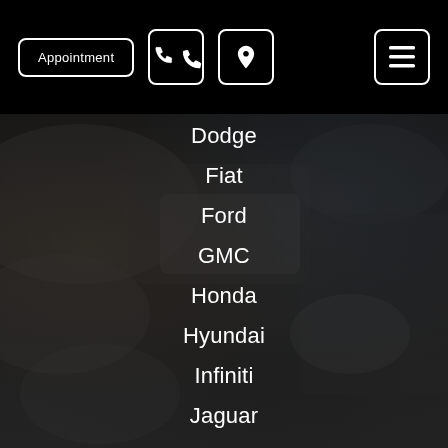Appointment | Phone icon | Location icon | Menu icon
Dodge
Fiat
Ford
GMC
Honda
Hyundai
Infiniti
Jaguar
Jeep